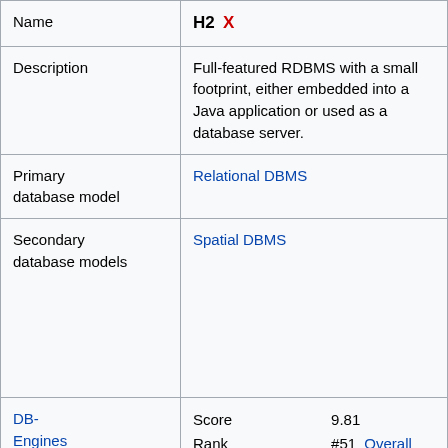| Name | H2  X |
| --- | --- |
| Description | Full-featured RDBMS with a small footprint, either embedded into a Java application or used as a database server. |
| Primary database model | Relational DBMS |
| Secondary database models | Spatial DBMS |
| DB-Engines Ranking [i] | Score 9.81
Rank #51 Overall
#31 Relational DBMS |